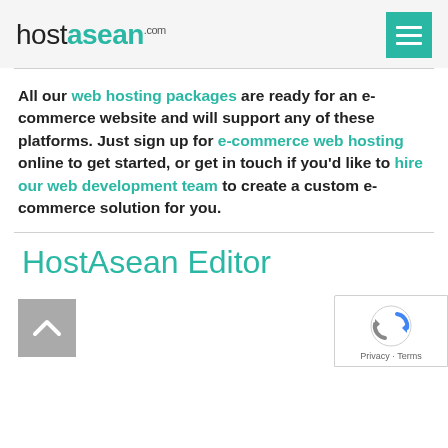hostasean.com
All our web hosting packages are ready for an e-commerce website and will support any of these platforms. Just sign up for e-commerce web hosting online to get started, or get in touch if you'd like to hire our web development team to create a custom e-commerce solution for you.
HostAsean Editor